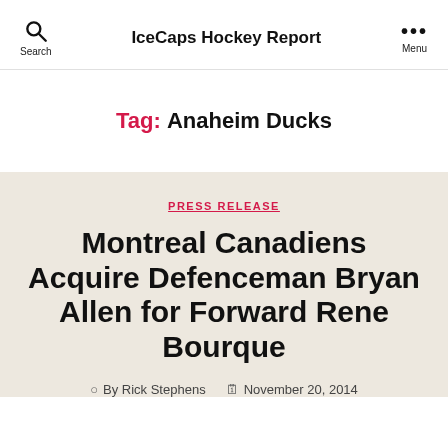IceCaps Hockey Report
Tag: Anaheim Ducks
PRESS RELEASE
Montreal Canadiens Acquire Defenceman Bryan Allen for Forward Rene Bourque
By Rick Stephens   November 20, 2014